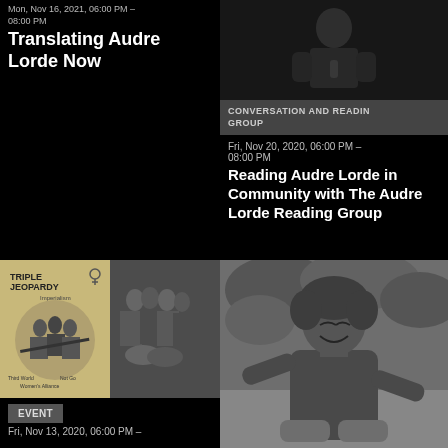Mon, Nov 16, 2021, 06:00 PM – 08:00 PM
Translating Audre Lorde Now
[Figure (photo): Black and white photo of a person performing or speaking, upper body visible]
CONVERSATION AND READING GROUP
Fri, Nov 20, 2020, 06:00 PM – 08:00 PM
Reading Audre Lorde in Community with The Audre Lorde Reading Group
[Figure (photo): Collage image: left side shows Triple Jeopardy magazine cover with illustrated women and text 'Imperialism', 'Third World Women's Alliance'; right side shows a black and white photo of a group of women seated together]
EVENT
Fri, Nov 13, 2020, 06:00 PM –
[Figure (photo): Black and white photo of a smiling Black woman with natural hair, seated outdoors among foliage]